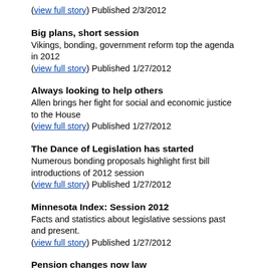(view full story) Published 2/3/2012
Big plans, short session
Vikings, bonding, government reform top the agenda in 2012
(view full story) Published 1/27/2012
Always looking to help others
Allen brings her fight for social and economic justice to the House
(view full story) Published 1/27/2012
The Dance of Legislation has started
Numerous bonding proposals highlight first bill introductions of 2012 session
(view full story) Published 1/27/2012
Minnesota Index: Session 2012
Facts and statistics about legislative sessions past and present.
(view full story) Published 1/27/2012
Pension changes now law
Local employee plans to join statewide plan
(view full story) Published 8/11/2011